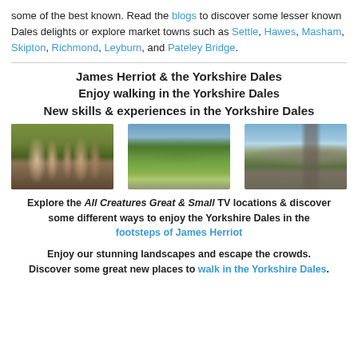some of the best known. Read the blogs to discover some lesser known Dales delights or explore market towns such as Settle, Hawes, Masham, Skipton, Richmond, Leyburn, and Pateley Bridge.
James Herriot & the Yorkshire Dales
Enjoy walking in the Yorkshire Dales
New skills & experiences in the Yorkshire Dales
[Figure (photo): Cast of All Creatures Great & Small TV show standing in a Yorkshire Dales landscape]
[Figure (photo): Green Yorkshire Dales valley with stone walls and rolling hills]
[Figure (photo): Moorland landscape with viaduct in background and people walking]
Explore the All Creatures Great & Small TV locations & discover some different ways to enjoy the Yorkshire Dales in the footsteps of James Herriot
Enjoy our stunning landscapes and escape the crowds. Discover some great new places to walk in the Yorkshire Dales.